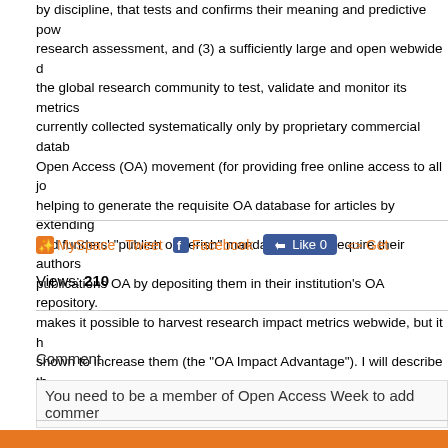by discipline, that tests and confirms their meaning and predictive power for research assessment, and (3) a sufficiently large and open webwide database for the global research community to test, validate and monitor its metrics. Data currently collected systematically only by proprietary commercial databases. Open Access (OA) movement (for providing free online access to all journals), helping to generate the requisite OA database for articles by extending universities and funders' "publish or perish" mandates to also require their authors to make their publications OA by depositing them in their institution's OA repository. This not only makes it possible to harvest research impact metrics webwide, but it has also been shown to increase them (the "OA Impact Advantage"). I will describe the webwide metrics, the OA Advantage, how OA metrics can be tested and validated, and research assessment.
MySpace Tweet  Facebook  Like 0   Get
Views: 210
Comment
You need to be a member of Open Access Week to add commen